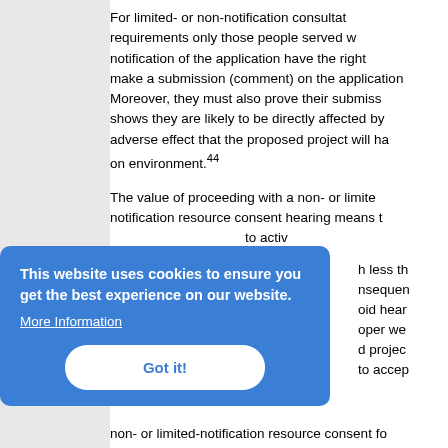For limited- or non-notification consultation requirements only those people served with notification of the application have the right to make a submission (comment) on the application. Moreover, they must also prove their submission shows they are likely to be directly affected by an adverse effect that the proposed project will have on environment.44
The value of proceeding with a non- or limited-notification resource consent hearing means that ... to actively ... h less than ... nsequently ... oid hearing ... oper we... d project ... to accept...
[Figure (screenshot): Cookie consent banner overlay with blue background. Text: 'This website uses cookies to ensure you get the best experience on our website.' with 'More Information' link and 'Got it!' button.]
non- or limited-notification resource consent fo